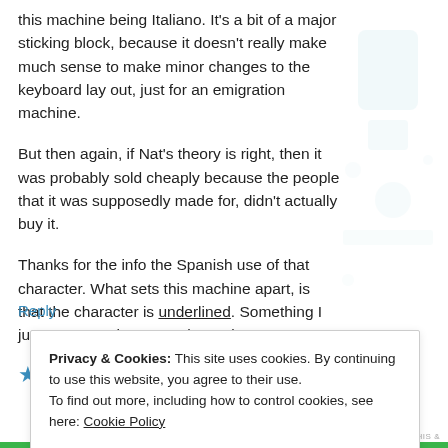this machine being Italiano. It's a bit of a major sticking block, because it doesn't really make much sense to make minor changes to the keyboard lay out, just for an emigration machine.
But then again, if Nat's theory is right, then it was probably sold cheaply because the people that it was supposedly made for, didn't actually buy it.
Thanks for the info the Spanish use of that character. What sets this machine apart, is that the character is underlined. Something I just can't match up anywhere else.
★ Like
Privacy & Cookies: This site uses cookies. By continuing to use this website, you agree to their use.
To find out more, including how to control cookies, see here: Cookie Policy
Close and accept